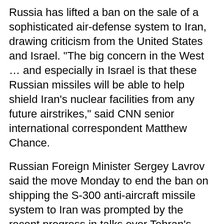Russia has lifted a ban on the sale of a sophisticated air-defense system to Iran, drawing criticism from the United States and Israel. "The big concern in the West … and especially in Israel is that these Russian missiles will be able to help shield Iran's nuclear facilities from any future airstrikes," said CNN senior international correspondent Matthew Chance.
Russian Foreign Minister Sergey Lavrov said the move Monday to end the ban on shipping the S-300 anti-aircraft missile system to Iran was prompted by the recent progress in talks over Tehran's nuclear program. The ban had been in place since 2010. "We are convinced that at this stage, there's no more need of such an embargo, Russia's separate voluntary embargo," Lavrov said, according to the Russian news agency Tass.